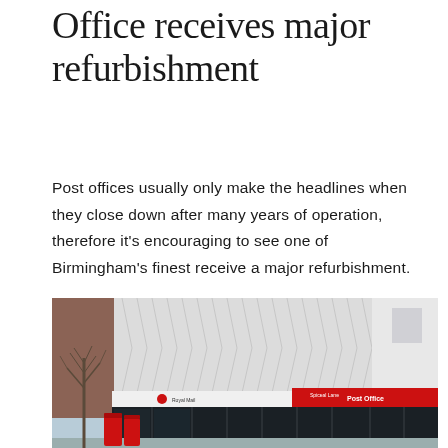Office receives major refurbishment
Post offices usually only make the headlines when they close down after many years of operation, therefore it's encouraging to see one of Birmingham's finest receive a major refurbishment.
[Figure (photo): Exterior photograph of a Birmingham Post Office building showing a modern white textured facade with diamond-pattern cladding, red Post Office signage, large dark glass shopfront windows, a bare tree on the left, and two red post boxes in the foreground.]